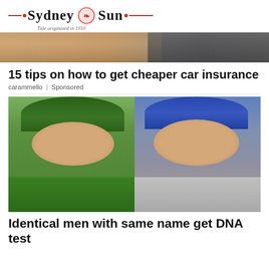Sydney Sun — Title originated in 1910
[Figure (photo): Article thumbnail showing close-up of hands on a car, tan/brown tones]
15 tips on how to get cheaper car insurance
carammello | Sponsored
[Figure (photo): Two men who look identical both wearing baseball caps and glasses, one in green jersey one in gray shirt]
Identical men with same name get DNA test